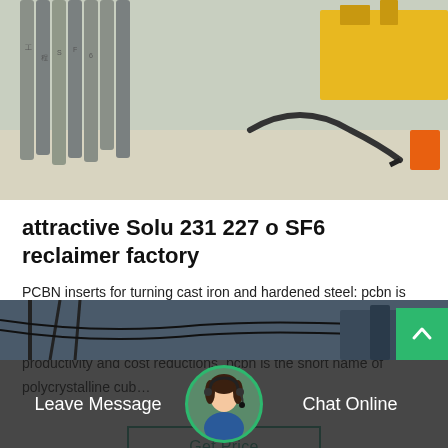[Figure (photo): Construction site photo showing grey metal pipes/cylinders stacked vertically with Japanese/Chinese characters, machinery and cables in the background on a concrete surface.]
attractive Solu 231 227 o SF6 reclaimer factory
PCBN inserts for turning cast iron and hardened steel: pcbn is the second hardest material in the world, and cbn related high precision cutting tools are introduced to industry, achieved high productivity and cost reductions. pcbn is the short name of polycrystalline cub…
[Figure (other): Get Price button with teal border]
[Figure (photo): Industrial electrical infrastructure photo showing power lines/equipment at bottom of page.]
Leave Message
[Figure (photo): Circular avatar of a female customer service representative wearing a headset, with green border circle.]
Chat Online